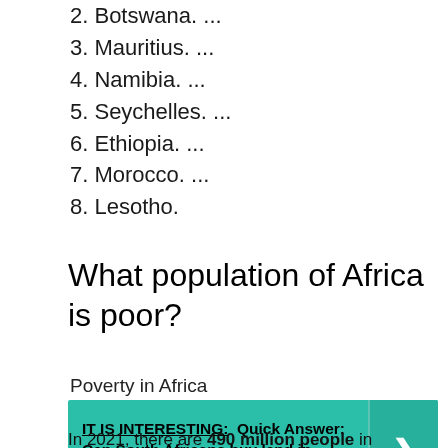2. Botswana. ...
3. Mauritius. ...
4. Namibia. ...
5. Seychelles. ...
6. Ethiopia. ...
7. Morocco. ...
8. Lesotho.
What population of Africa is poor?
Poverty in Africa
IT IS INTERESTING: Quick Answer: Can South Africans buy land in Canada?
In 2021, there are 490 million people in